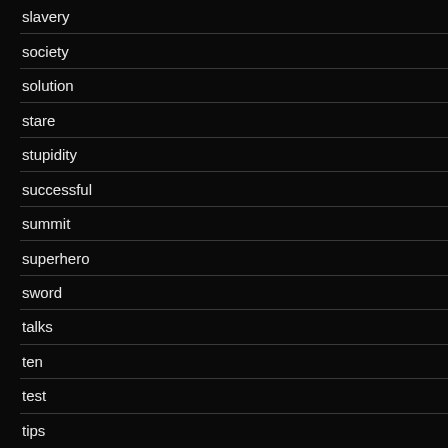slavery
society
solution
stare
stupidity
successful
summit
superhero
sword
talks
ten
test
tips